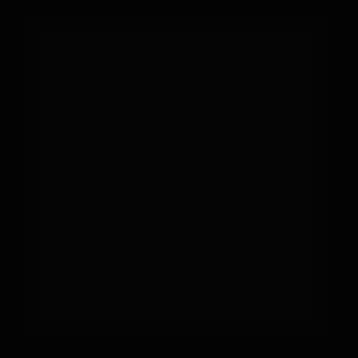[Figure (photo): A very dark, nearly black image. The page appears to be an almost entirely black photograph or scan with minimal visible detail — possibly a night scene, a blackout page, or a very underexposed/dark image.]